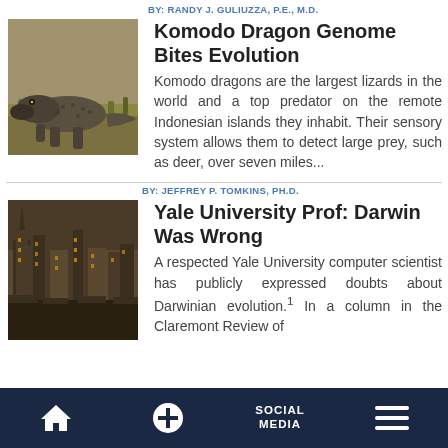BY: RANDY J. GULIUZZA, P.E., M.D.
[Figure (photo): A Komodo dragon in a grassy field, large lizard with dark scales]
Komodo Dragon Genome Bites Evolution
Komodo dragons are the largest lizards in the world and a top predator on the remote Indonesian islands they inhabit. Their sensory system allows them to detect large prey, such as deer, over seven miles...
BY: JEFFREY P. TOMKINS, PH.D.
[Figure (photo): Aerial view of Yale University buildings at dusk with golden lighting]
Yale University Prof: Darwin Was Wrong
A respected Yale University computer scientist has publicly expressed doubts about Darwinian evolution.1 In a column in the Claremont Review of
HOME   +   SOCIAL MEDIA   ≡